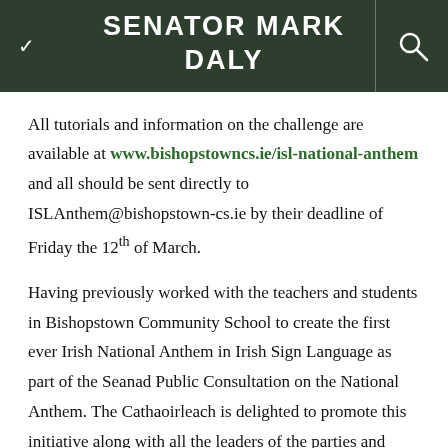SENATOR MARK DALY
All tutorials and information on the challenge are available at www.bishopstowncs.ie/isl-national-anthem and all should be sent directly to ISLAnthem@bishopstown-cs.ie by their deadline of Friday the 12th of March.
Having previously worked with the teachers and students in Bishopstown Community School to create the first ever Irish National Anthem in Irish Sign Language as part of the Seanad Public Consultation on the National Anthem. The Cathaoirleach is delighted to promote this initiative along with all the leaders of the parties and groups in Seanad Éireann. The Cathaoirleach will organise VIP tours of Leinster House to the schools who are identified by Bishopstown